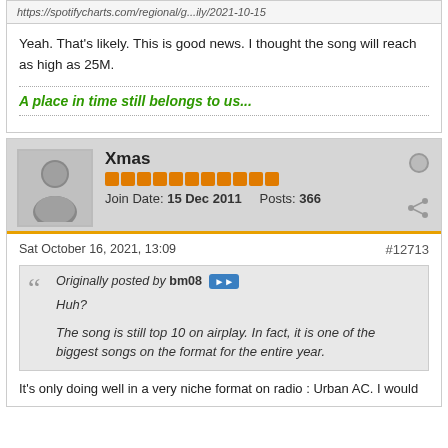https://spotifycharts.com/regional/g...ily/2021-10-15
Yeah. That's likely. This is good news. I thought the song will reach as high as 25M.
A place in time still belongs to us...
Xmas
Join Date: 15 Dec 2011   Posts: 366
Sat October 16, 2021, 13:09
#12713
Originally posted by bm08
Huh?
The song is still top 10 on airplay. In fact, it is one of the biggest songs on the format for the entire year.
It's only doing well in a very niche format on radio : Urban AC. I would